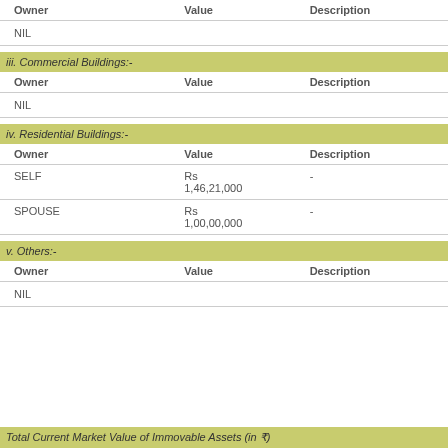| Owner | Value | Description |
| --- | --- | --- |
| NIL |  |  |
iii. Commercial Buildings:-
| Owner | Value | Description |
| --- | --- | --- |
| NIL |  |  |
iv. Residential Buildings:-
| Owner | Value | Description |
| --- | --- | --- |
| SELF | Rs 1,46,21,000 | - |
| SPOUSE | Rs 1,00,00,000 | - |
v. Others:-
| Owner | Value | Description |
| --- | --- | --- |
| NIL |  |  |
Total Current Market Value of Immovable Assets (in ₹)